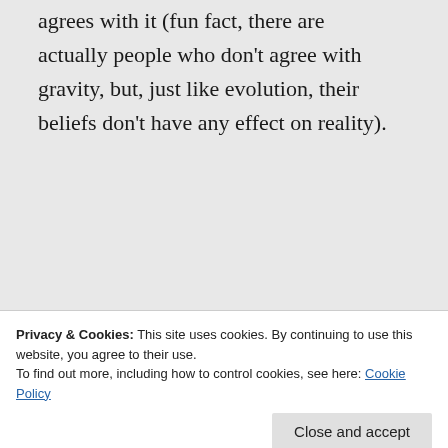agrees with it (fun fact, there are actually people who don't agree with gravity, but, just like evolution, their beliefs don't have any effect on reality).
★ Like
👍 31 👎 0 🔵 Rate This
Privacy & Cookies: This site uses cookies. By continuing to use this website, you agree to their use. To find out more, including how to control cookies, see here: Cookie Policy
Close and accept
you've never searched for